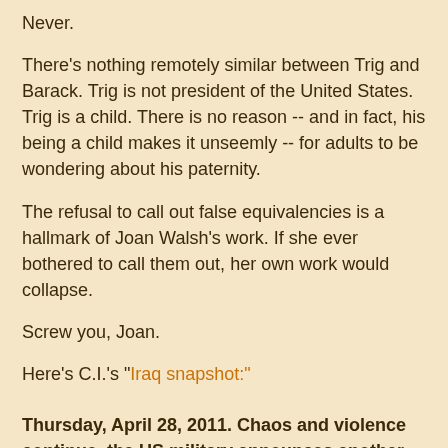Never.
There's nothing remotely similar between Trig and Barack. Trig is not president of the United States. Trig is a child. There is no reason -- and in fact, his being a child makes it unseemly -- for adults to be wondering about his paternity.
The refusal to call out false equivalencies is a hallmark of Joan Walsh's work. If she ever bothered to call them out, her own work would collapse.
Screw you, Joan.
Here's C.I.'s "Iraq snapshot:"
Thursday, April 28, 2011. Chaos and violence continue, the US military announces another death, protests take place in Ramadi, Camp Ashraf finds some new supporters, and more. AP reports the US military has announced another death -- this one "in southern Iraq in a non-combat related incident" -- which, no doubt, is currently under investigation. Meanwhile Mu Xuequan (Xinhua) reports that a suicide bomber in Diyala Province targeted